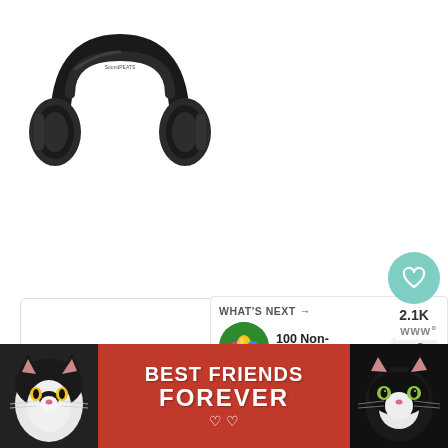[Figure (photo): Black over-ear wireless headphones on white background, viewed from a slight angle showing the headband and ear cups]
2.1K
[Figure (infographic): What's Next panel showing a colorful Easter eggs thumbnail image with text '100 Non-Candy Easte...' and 'WHAT'S NEXT' header with arrow]
WHAT'S NEXT →
100 Non-Candy Easte...
SIMPLIFY
[Figure (photo): Advertisement banner with red background showing two cats (black and white tuxedo cats on each side) and text 'BEST FRIENDS FOREVER' in white bold letters with heart decorations]
BEST FRIENDS FOREVER